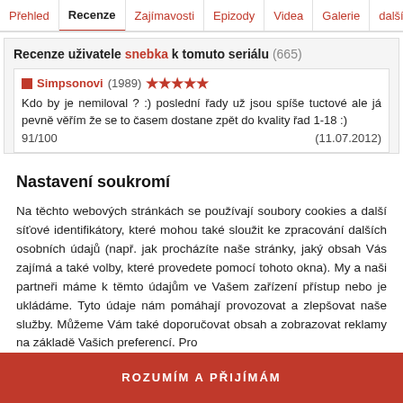Přehled | Recenze | Zajímavosti | Epizody | Videa | Galerie | další
Recenze uživatele snebka k tomuto seriálu (665)
■ Simpsonovi (1989) ★★★★★
Kdo by je nemiloval ? :) poslední řady už jsou spíše tuctové ale já pevně věřím že se to časem dostane zpět do kvality řad 1-18 :)
91/100  (11.07.2012)
Nastavení soukromí
Na těchto webových stránkách se používají soubory cookies a další síťové identifikátory, které mohou také sloužit ke zpracování dalších osobních údajů (např. jak procházíte naše stránky, jaký obsah Vás zajímá a také volby, které provedete pomocí tohoto okna). My a naši partneři máme k těmto údajům ve Vašem zařízení přístup nebo je ukládáme. Tyto údaje nám pomáhají provozovat a zlepšovat naše služby. Můžeme Vám také doporučovat obsah a zobrazovat reklamy na základě Vašich preferencí. Pro
PODROBNÉ NASTAVENÍ
ROZUMÍM A PŘIJÍMÁM